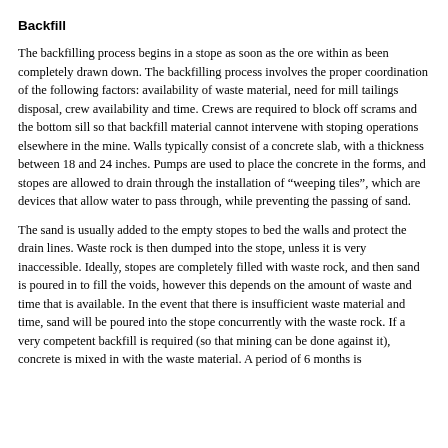Backfill
The backfilling process begins in a stope as soon as the ore within as been completely drawn down. The backfilling process involves the proper coordination of the following factors: availability of waste material, need for mill tailings disposal, crew availability and time. Crews are required to block off scrams and the bottom sill so that backfill material cannot intervene with stoping operations elsewhere in the mine. Walls typically consist of a concrete slab, with a thickness between 18 and 24 inches. Pumps are used to place the concrete in the forms, and stopes are allowed to drain through the installation of “weeping tiles”, which are devices that allow water to pass through, while preventing the passing of sand.
The sand is usually added to the empty stopes to bed the walls and protect the drain lines. Waste rock is then dumped into the stope, unless it is very inaccessible. Ideally, stopes are completely filled with waste rock, and then sand is poured in to fill the voids, however this depends on the amount of waste and time that is available. In the event that there is insufficient waste material and time, sand will be poured into the stope concurrently with the waste rock. If a very competent backfill is required (so that mining can be done against it), concrete is mixed in with the waste material. A period of 6 months is